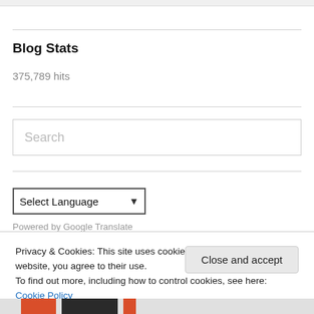Blog Stats
375,789 hits
[Figure (screenshot): Search input box with placeholder text 'Search']
[Figure (screenshot): Select Language dropdown widget]
Privacy & Cookies: This site uses cookies. By continuing to use this website, you agree to their use.
To find out more, including how to control cookies, see here: Cookie Policy
Close and accept